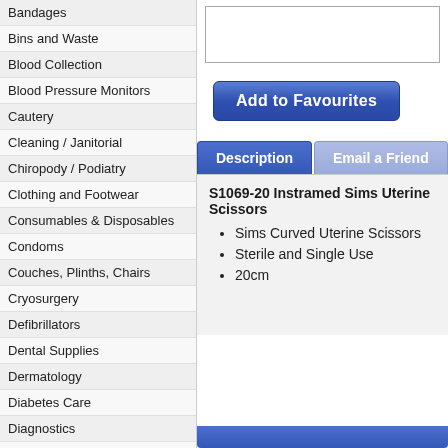Bandages
Bins and Waste
Blood Collection
Blood Pressure Monitors
Cautery
Cleaning / Janitorial
Chiropody / Podiatry
Clothing and Footwear
Consumables & Disposables
Condoms
Couches, Plinths, Chairs
Cryosurgery
Defibrillators
Dental Supplies
Dermatology
Diabetes Care
Diagnostics
Dopplers
Dressings
ECG Machines
Electrosurgery
ENT Equipment
Add to Favourites
Description | Email a Friend
S1069-20 Instramed Sims Uterine Scissors
Sims Curved Uterine Scissors
Sterile and Single Use
20cm